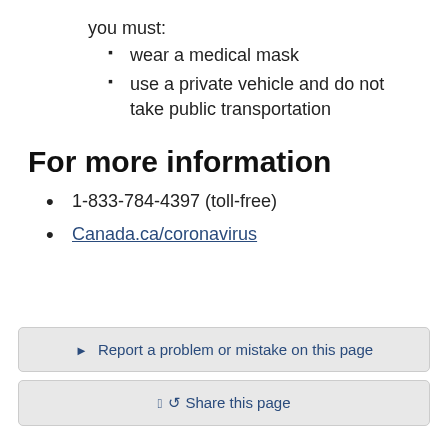you must:
wear a medical mask
use a private vehicle and do not take public transportation
For more information
1-833-784-4397 (toll-free)
Canada.ca/coronavirus
Report a problem or mistake on this page
Share this page